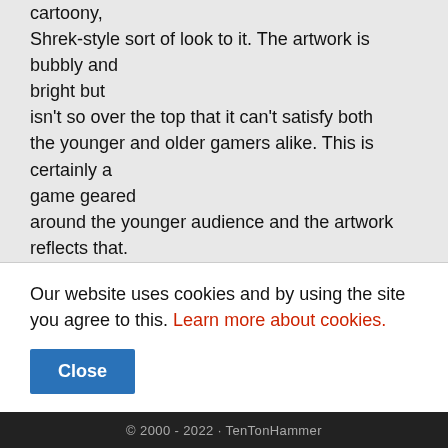cartoony, Shrek-style sort of look to it. The artwork is bubbly and bright but isn't so over the top that it can't satisfy both the younger and older gamers alike. This is certainly a game geared around the younger audience and the artwork reflects that. Overall, the movement of the characters and NPCs looks fluid and polished, which adds an element of complexity to the graphics. The lighter style of the
Our website uses cookies and by using the site you agree to this. Learn more about cookies.
Close
© 2000 - 2022 · TenTonHammer